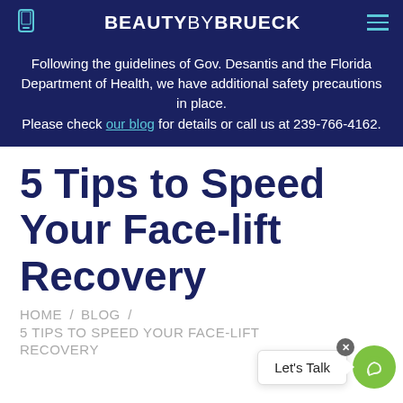BEAUTYBYBRUECK
Following the guidelines of Gov. Desantis and the Florida Department of Health, we have additional safety precautions in place. Please check our blog for details or call us at 239-766-4162.
5 Tips to Speed Your Face-lift Recovery
HOME / BLOG / 5 TIPS TO SPEED YOUR FACE-LIFT RECOVERY